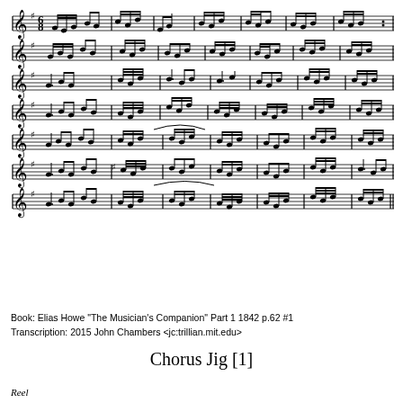[Figure (illustration): Seven lines of musical notation in G major (one sharp) showing a jig tune with beamed eighth and sixteenth notes, bar lines, and a treble clef on each staff line.]
Book: Elias Howe "The Musician's Companion" Part 1 1842 p.62 #1
Transcription: 2015 John Chambers <jc:trillian.mit.edu>
Chorus Jig [1]
Reel